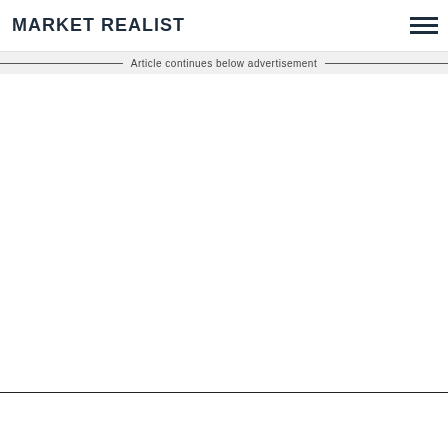MARKET REALIST
Article continues below advertisement